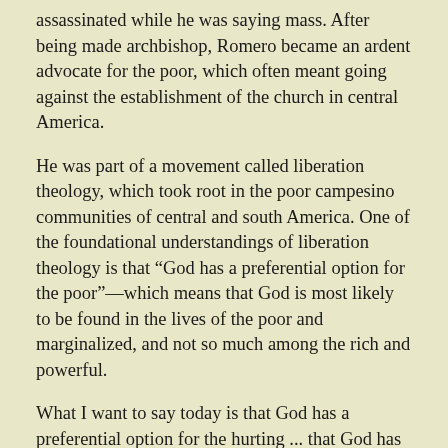assassinated while he was saying mass. After being made archbishop, Romero became an ardent advocate for the poor, which often meant going against the establishment of the church in central America.
He was part of a movement called liberation theology, which took root in the poor campesino communities of central and south America. One of the foundational understandings of liberation theology is that “God has a preferential option for the poor”—which means that God is most likely to be found in the lives of the poor and marginalized, and not so much among the rich and powerful.
What I want to say today is that God has a preferential option for the hurting ... that God has a preferential option for the wounded ... that God has a preferential option for the broken ... that God has a preferential option for the traumatized ... that God has a preferential option for those who mourn.
In the midst of the trauma we experienced, God’s heart was also breaking this week.
And the God whose heart was breaking, holds us and is in